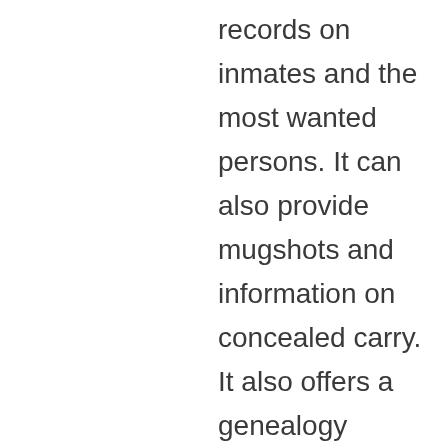records on inmates and the most wanted persons. It can also provide mugshots and information on concealed carry. It also offers a genealogy database. To obtain these records, you'll need to fill out a form, which should include your name, case number, and the date, location, and parties involved in the incident.

The Sheriff's Office handles the processing of public records requests. This office processes requests for jail records, death certificates, and minister credentials.